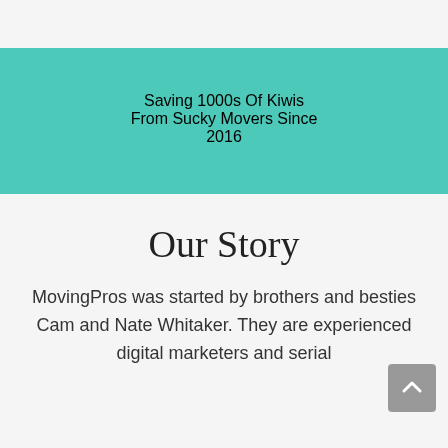Saving 1000s Of Kiwis From Sucky Movers Since 2016
Our Story
MovingPros was started by brothers and besties Cam and Nate Whitaker. They are experienced digital marketers and serial